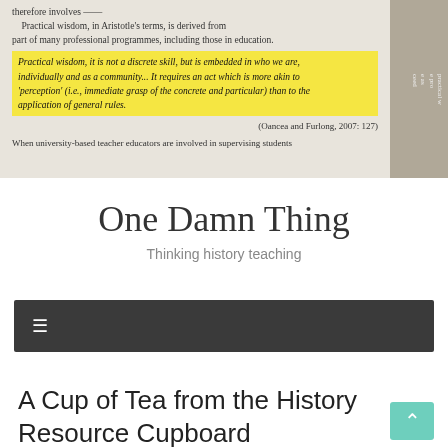[Figure (photo): Photo of a book page with highlighted text about practical wisdom, with a yellow sticky note partially covering some text. The visible text discusses practical wisdom in Aristotle's terms and professional programmes.]
therefore involves... Practical wisdom, in Aristotle's terms, is derived from... part of many professional programmes, including those in education.
Practical wisdom, it is not a discrete skill, but is embedded in who we are, individually and as a community... It requires an act which is more akin to 'perception' (i.e., immediate grasp of the concrete and particular) than to the application of general rules.
(Oancea and Furlong, 2007: 127)
When university-based teacher educators are involved in supervising students
One Damn Thing
Thinking history teaching
≡
A Cup of Tea from the History Resource Cupboard #28daysofwriting